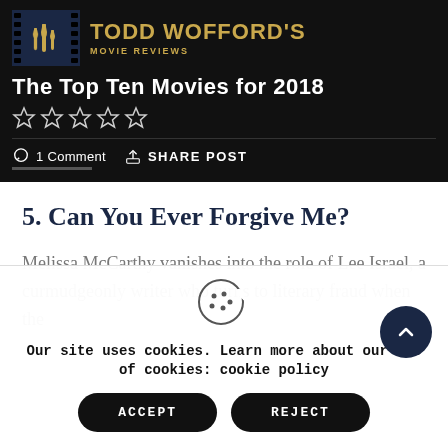TODD WOFFORD'S MOVIE REVIEWS
The Top Ten Movies for 2018
1 Comment  SHARE POST
5.  Can You Ever Forgive Me?
Melissa McCarthy vanishes into the role of Lee Israel, a curmudgeonly writer who turns to literary fraud when the
Our site uses cookies. Learn more about our use of cookies: cookie policy